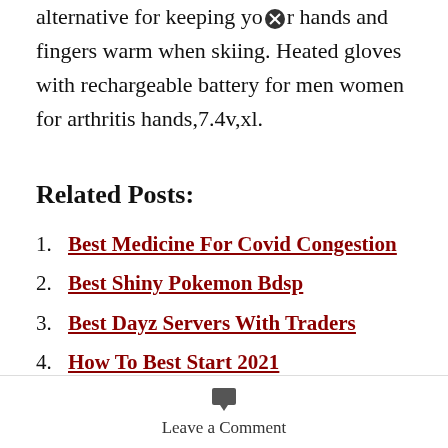alternative for keeping your hands and fingers warm when skiing. Heated gloves with rechargeable battery for men women for arthritis hands,7.4v,xl.
Related Posts:
Best Medicine For Covid Congestion
Best Shiny Pokemon Bdsp
Best Dayz Servers With Traders
How To Best Start 2021
Hero Wars Best Heroes 2021
Leave a Comment